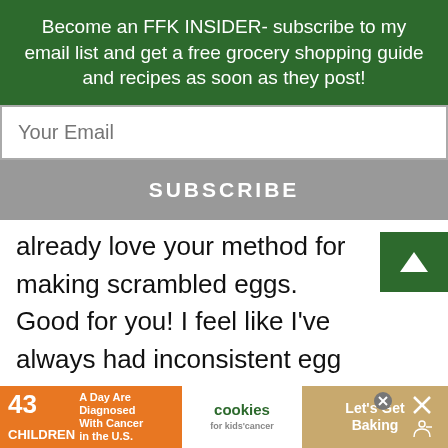Become an FFK INSIDER- subscribe to my email list and get a free grocery shopping guide and recipes as soon as they post!
Your Email
SUBSCRIBE
already love your method for making scrambled eggs. Good for you! I feel like I've always had inconsistent egg results. Sometimes I love my eggs and sometimes I hate them. I feel like asking anyone “how do you like your eggs?” is a
43 CHILDREN A Day Are Diagnosed With Cancer in the U.S.  cookies for kids' cancer  Let's Get Baking